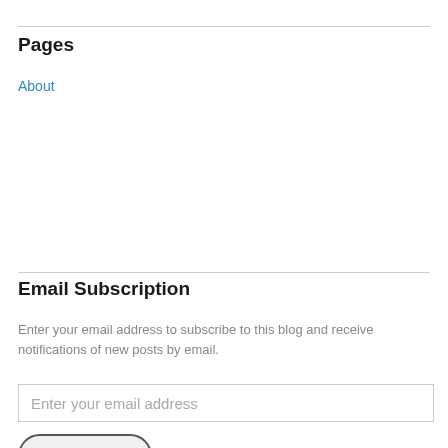Pages
About
Email Subscription
Enter your email address to subscribe to this blog and receive notifications of new posts by email.
Enter your email address
Sign me up!
Join 300 other followers
Personal Records...